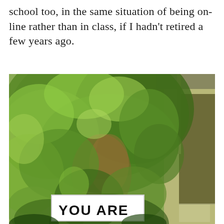school too, in the same situation of being on-line rather than in class, if I hadn't retired a few years ago.
[Figure (photo): Outdoor photograph showing dense green tree foliage with a building/house visible on the right side. At the bottom of the image, a white sign reads 'YOU ARE' in bold black letters.]